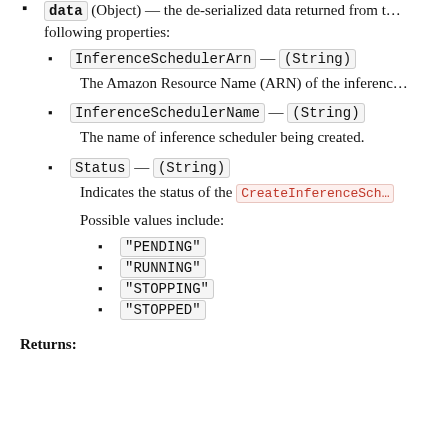data (Object) — the de-serialized data returned from the request. Set to null if a request error occurs. The data object has the following properties:
InferenceSchedulerArn — (String)
The Amazon Resource Name (ARN) of the inference scheduler being created.
InferenceSchedulerName — (String)
The name of inference scheduler being created.
Status — (String)
Indicates the status of the CreateInferenceSch...
Possible values include:
"PENDING"
"RUNNING"
"STOPPING"
"STOPPED"
Returns: